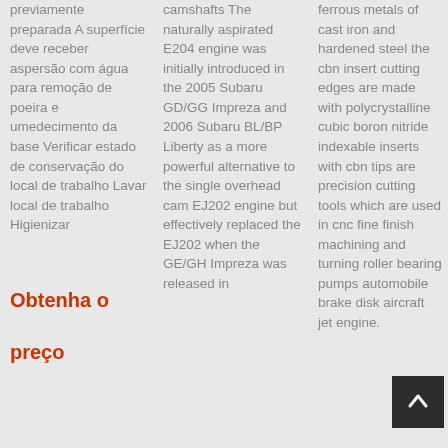previamente preparada A superfície deve receber aspersão com água para remoção de poeira e umedecimento da base Verificar estado de conservação do local de trabalho Lavar local de trabalho Higienizar
Obtenha o preço
camshafts The naturally aspirated E204 engine was initially introduced in the 2005 Subaru GD/GG Impreza and 2006 Subaru BL/BP Liberty as a more powerful alternative to the single overhead cam EJ202 engine but effectively replaced the EJ202 when the GE/GH Impreza was released in
ferrous metals of cast iron and hardened steel the cbn insert cutting edges are made with polycrystalline cubic boron nitride indexable inserts with cbn tips are precision cutting tools which are used in cnc fine finish machining and turning roller bearing pumps automobile brake disk aircraft jet engine.